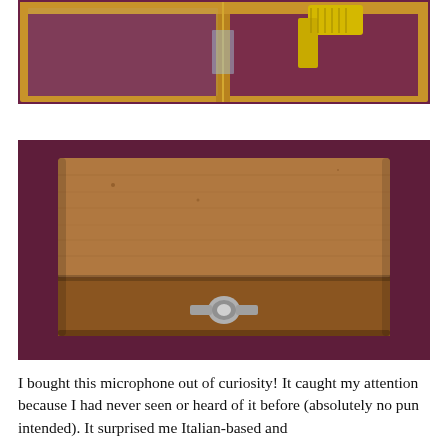[Figure (photo): Top portion of an open wooden display box with velvet-lined interior on a dark purple background. A yellow microphone is visible in the upper right corner.]
[Figure (photo): A closed rectangular wooden box with visible wood grain, a metal latch/clasp at the front center, sitting on a dark purple background.]
I bought this microphone out of curiosity! It caught my attention because I had never seen or heard of it before (absolutely no pun intended). It surprised me Italian-based and